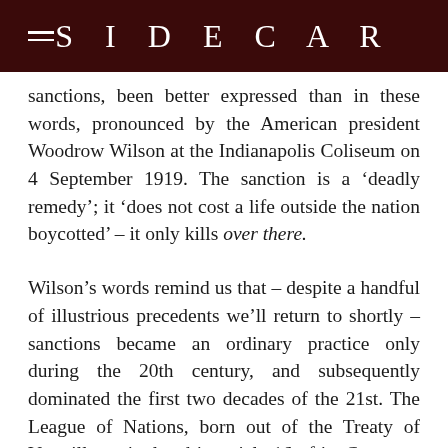SIDECAR
sanctions, been better expressed than in these words, pronounced by the American president Woodrow Wilson at the Indianapolis Coliseum on 4 September 1919. The sanction is a ‘deadly remedy’; it ‘does not cost a life outside the nation boycotted’ – it only kills over there.
Wilson’s words remind us that – despite a handful of illustrious precedents we’ll return to shortly – sanctions became an ordinary practice only during the 20th century, and subsequently dominated the first two decades of the 21st. The League of Nations, born out of the Treaty of Versailles, stipulated in article 16 of its Covenant the possibility of imposing sanctions on states that had breached its rules.